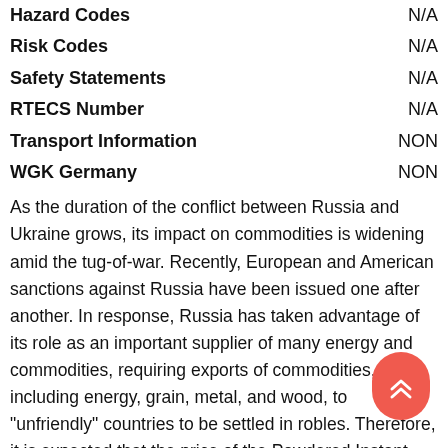| Field | Value |
| --- | --- |
| Hazard Codes | N/A |
| Risk Codes | N/A |
| Safety Statements | N/A |
| RTECS Number | N/A |
| Transport Information | NON |
| WGK Germany | NON |
As the duration of the conflict between Russia and Ukraine grows, its impact on commodities is widening amid the tug-of-war. Recently, European and American sanctions against Russia have been issued one after another. In response, Russia has taken advantage of its role as an important supplier of many energy and commodities, requiring exports of commodities, including energy, grain, metal, and wood, to "unfriendly" countries to be settled in robles. Therefore, it is expected that the price of the Powdered Instant Potassium Silicate will continue to increase.